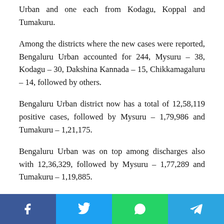Urban and one each from Kodagu, Koppal and Tumakuru.
Among the districts where the new cases were reported, Bengaluru Urban accounted for 244, Mysuru – 38, Kodagu – 30, Dakshina Kannada – 15, Chikkamagaluru – 14, followed by others.
Bengaluru Urban district now has a total of 12,58,119 positive cases, followed by Mysuru – 1,79,986 and Tumakuru – 1,21,175.
Bengaluru Urban was on top among discharges also with 12,36,329, followed by Mysuru – 1,77,289 and Tumakuru – 1,19,885.
Social share bar: Facebook, Twitter, WhatsApp, Telegram